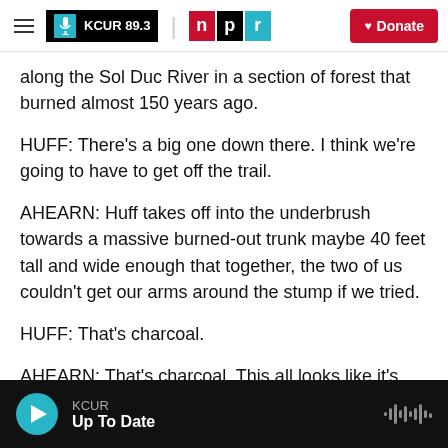KCUR 89.3 | npr | Donate
along the Sol Duc River in a section of forest that burned almost 150 years ago.
HUFF: There's a big one down there. I think we're going to have to get off the trail.
AHEARN: Huff takes off into the underbrush towards a massive burned-out trunk maybe 40 feet tall and wide enough that together, the two of us couldn't get our arms around the stump if we tried.
HUFF: That's charcoal.
AHEARN: That's charcoal. This all looks like it's
KCUR — Up To Date